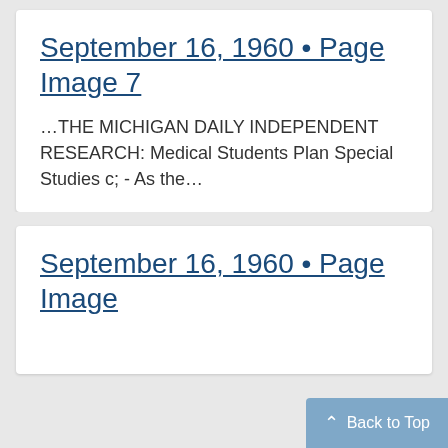September 16, 1960 • Page Image 7
…THE MICHIGAN DAILY INDEPENDENT RESEARCH: Medical Students Plan Special Studies c; - As the…
September 16, 1960 • Page Image
Back to Top